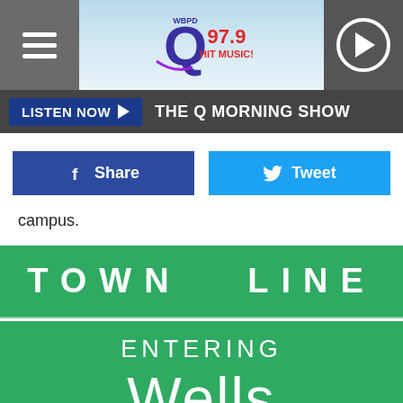[Figure (screenshot): Q97.9 Hit Music radio station header with hamburger menu, logo, and play button]
LISTEN NOW ▶  THE Q MORNING SHOW
f Share    🐦 Tweet
campus.
TOWN  LINE
ENTERING
Wells
POP. 11,314
[Figure (other): Partial green town sign at bottom]